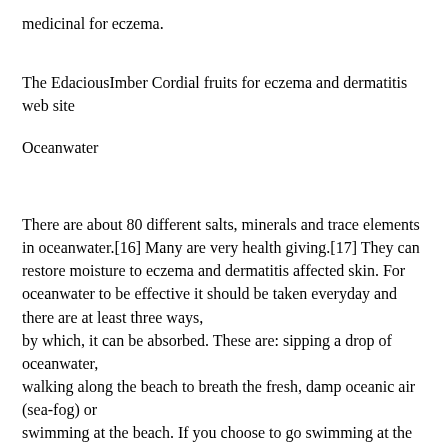medicinal for eczema.
The EdaciousImber Cordial fruits for eczema and dermatitis web site
Oceanwater
There are about 80 different salts, minerals and trace elements in oceanwater.[16] Many are very health giving.[17] They can restore moisture to eczema and dermatitis affected skin. For oceanwater to be effective it should be taken everyday and there are at least three ways,
by which, it can be absorbed. These are: sipping a drop of oceanwater,
walking along the beach to breath the fresh, damp oceanic air (sea-fog) or
swimming at the beach. If you choose to go swimming at the beach,
I'd recommend that you bath in clean fresh water with in an hour of leaving the ocean. This is for immunological reasons (eczema is of the